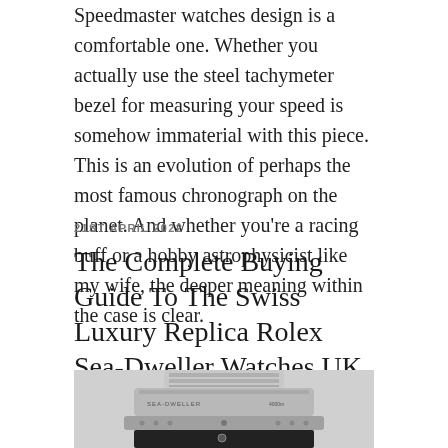Speedmaster watches design is a comfortable one. Whether you actually use the steel tachymeter bezel for measuring your speed is somehow immaterial with this piece. This is an evolution of perhaps the most famous chronograph on the planet. And whether you're a racing buff or a hobby astrophysicist like my wife, the deeper meaning within the case is clear.
21ST APRIL 2022
The Complete Buying Guide To The Swiss Luxury Replica Rolex Sea-Dweller Watches UK
[Figure (photo): Close-up photo of a Rolex Sea-Dweller watch showing the crown, bezel with text markings, and bracelet in stainless steel with black dial visible at bottom]